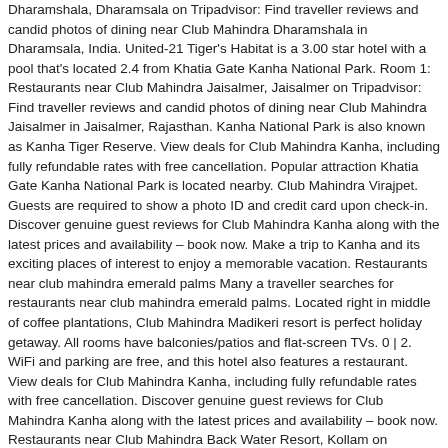Dharamshala, Dharamsala on Tripadvisor: Find traveller reviews and candid photos of dining near Club Mahindra Dharamshala in Dharamsala, India. United-21 Tiger's Habitat is a 3.00 star hotel with a pool that's located 2.4 from Khatia Gate Kanha National Park. Room 1: Restaurants near Club Mahindra Jaisalmer, Jaisalmer on Tripadvisor: Find traveller reviews and candid photos of dining near Club Mahindra Jaisalmer in Jaisalmer, Rajasthan. Kanha National Park is also known as Kanha Tiger Reserve. View deals for Club Mahindra Kanha, including fully refundable rates with free cancellation. Popular attraction Khatia Gate Kanha National Park is located nearby. Club Mahindra Virajpet. Guests are required to show a photo ID and credit card upon check-in. Discover genuine guest reviews for Club Mahindra Kanha along with the latest prices and availability – book now. Make a trip to Kanha and its exciting places of interest to enjoy a memorable vacation. Restaurants near club mahindra emerald palms Many a traveller searches for restaurants near club mahindra emerald palms. Located right in middle of coffee plantations, Club Mahindra Madikeri resort is perfect holiday getaway. All rooms have balconies/patios and flat-screen TVs. 0 | 2. WiFi and parking are free, and this hotel also features a restaurant. View deals for Club Mahindra Kanha, including fully refundable rates with free cancellation. Discover genuine guest reviews for Club Mahindra Kanha along with the latest prices and availability – book now. Restaurants near Club Mahindra Back Water Resort, Kollam on Tripadvisor: Find traveller reviews and candid photos of